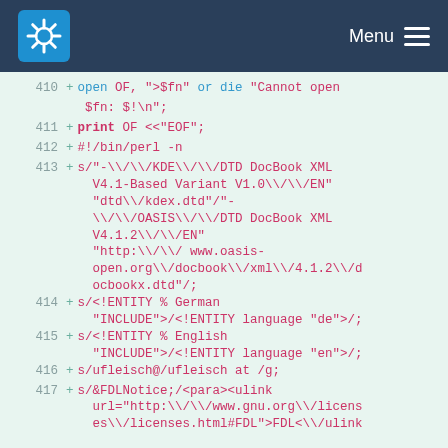KDE Menu
[Figure (screenshot): KDE application header bar with KDE gear logo on left and Menu hamburger icon on right, dark navy background]
410  +  open OF, ">$fn" or die "Cannot open $fn: $!\n";
411  +  print OF <<"EOF";
412  +  #!/bin/perl -n
413  +  s/"-\\/\\/KDE\\/\\/DTD DocBook XML V4.1-Based Variant V1.0\\/\\/EN" "dtd\\/kdex.dtd"/"-\\/\\/OASIS\\/\\/DTD DocBook XML V4.1.2\\/\\/EN" "http:\\/\\/www.oasis-open.org\\/docbook\\/xml\\/4.1.2\\/docbookx.dtd"/;
414  +  s/<!ENTITY % German "INCLUDE">/<!ENTITY language "de">/;
415  +  s/<!ENTITY % English "INCLUDE">/<!ENTITY language "en">/;
416  +  s/ufleisch@/ufleisch at /g;
417  +  s/&FDLNotice;/<para><ulink url="http:\\/\\/www.gnu.org\\/licenses\\/licenses.html#FDL">FDL<\\/ulink